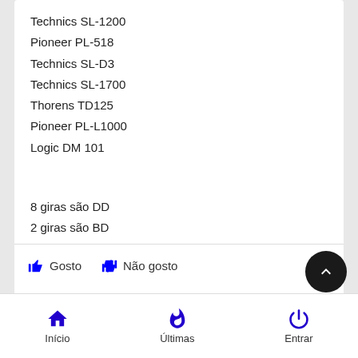Technics SL-1200
Pioneer PL-518
Technics SL-D3
Technics SL-1700
Thorens TD125
Pioneer PL-L1000
Logic DM 101
8 giras são DD
2 giras são BD
Fredie
Gosto   Não gosto
Início   Últimas   Entrar